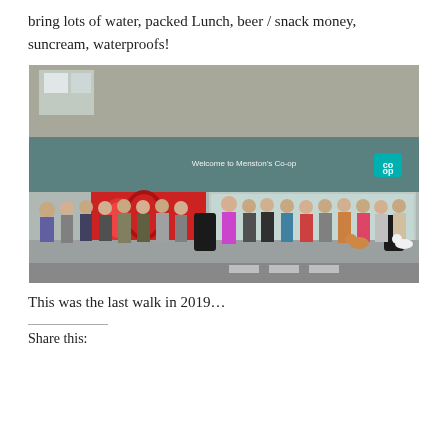bring lots of water, packed Lunch, beer / snack money, suncream, waterproofs!
[Figure (photo): A large group of people (approximately 40+) posing for a photo outside Menston's Co-op store. The group includes men and women of various ages, some with dogs. The store front has a teal/grey facade with a 'Welcome to Menston's Co-op' sign and red apple display panels in the windows.]
This was the last walk in 2019…
Share this: